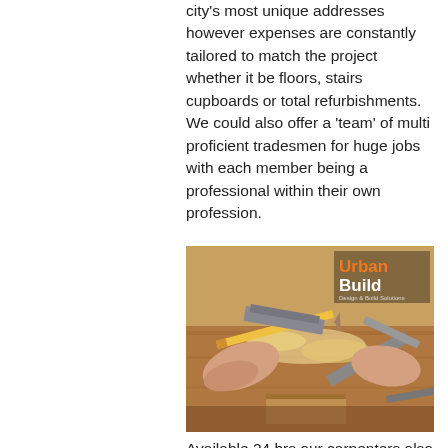city's most unique addresses however expenses are constantly tailored to match the project whether it be floors, stairs cupboards or total refurbishments. We could also offer a 'team' of multi proficient tradesmen for huge jobs with each member being a professional within their own profession.
[Figure (photo): A person's hands working with woodworking tools (pencil, hammer, plane) on a wooden workbench, with wood shavings. Urban Build Design & Build Solutions logo overlaid in top right corner.]
Available 24 hrs our carpenters also give emergency situation services for